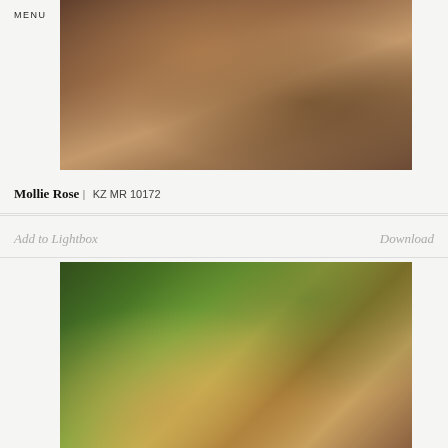MENU   KINTZING
[Figure (photo): Close-up photograph of human skin/body, warm amber and brown tones, artistic nude/figure study]
Mollie Rose | KZ MR 10172
Add to Lightbox
Download
[Figure (photo): Outdoor photograph showing a person lying down with lush green foliage and yellow vines in the background, warm skin tones against natural greenery]